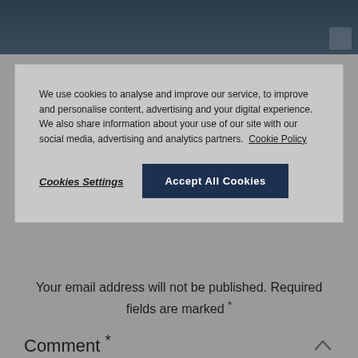[Figure (photo): Dark banner image at the top of the page, with a small thumbnail icon in the bottom-right corner]
We use cookies to analyse and improve our service, to improve and personalise content, advertising and your digital experience. We also share information about your use of our site with our social media, advertising and analytics partners. Cookie Policy
Cookies Settings
Accept All Cookies
Your email address will not be published. Required fields are marked *
Comment *